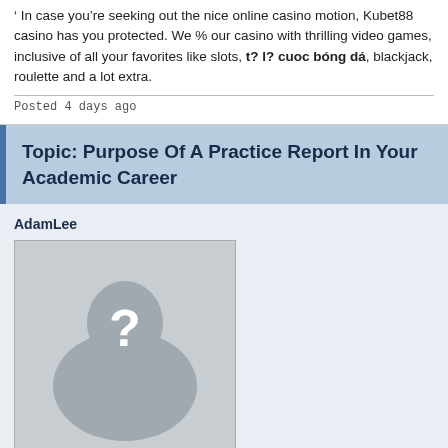' In case you're seeking out the nice online casino motion, Kubet88 casino has you protected. We % our casino with thrilling video games, inclusive of all your favorites like slots, t? l? cuoc bóng dá, blackjack, roulette and a lot extra.
Posted 4 days ago
Topic: Purpose Of A Practice Report In Your Academic Career
AdamLee
[Figure (photo): Default user avatar placeholder with silhouette and question mark]
Age: 2021
1212 days old here
Total Posts: 0
Points: 10

Location:
'